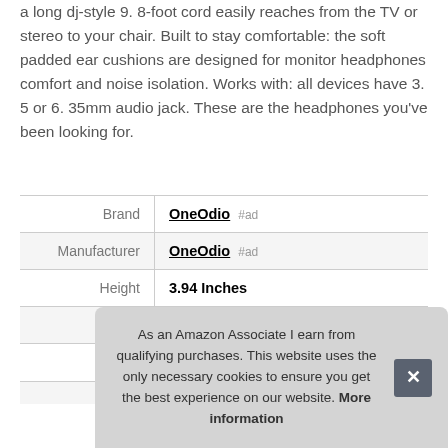a long dj-style 9. 8-foot cord easily reaches from the TV or stereo to your chair. Built to stay comfortable: the soft padded ear cushions are designed for monitor headphones comfort and noise isolation. Works with: all devices have 3. 5 or 6. 35mm audio jack. These are the headphones you've been looking for.
| Brand | OneOdio #ad |
| Manufacturer | OneOdio #ad |
| Height | 3.94 Inches |
| Length | 7.09 Inches |
| P |  |
As an Amazon Associate I earn from qualifying purchases. This website uses the only necessary cookies to ensure you get the best experience on our website. More information